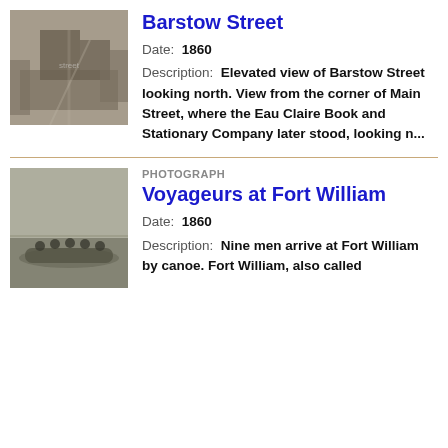[Figure (photo): Old black and white photograph of Barstow Street looking north, showing a street scene from 1860.]
Barstow Street
Date: 1860
Description: Elevated view of Barstow Street looking north. View from the corner of Main Street, where the Eau Claire Book and Stationary Company later stood, looking n...
[Figure (photo): Old black and white photograph of voyageurs arriving at Fort William by canoe, 1860.]
PHOTOGRAPH
Voyageurs at Fort William
Date: 1860
Description: Nine men arrive at Fort William by canoe. Fort William, also called